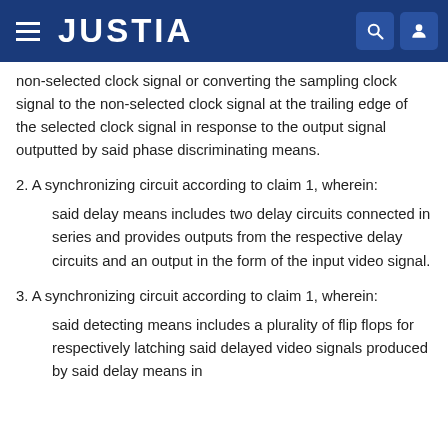JUSTIA
non-selected clock signal or converting the sampling clock signal to the non-selected clock signal at the trailing edge of the selected clock signal in response to the output signal outputted by said phase discriminating means.
2. A synchronizing circuit according to claim 1, wherein:
said delay means includes two delay circuits connected in series and provides outputs from the respective delay circuits and an output in the form of the input video signal.
3. A synchronizing circuit according to claim 1, wherein:
said detecting means includes a plurality of flip flops for respectively latching said delayed video signals produced by said delay means in